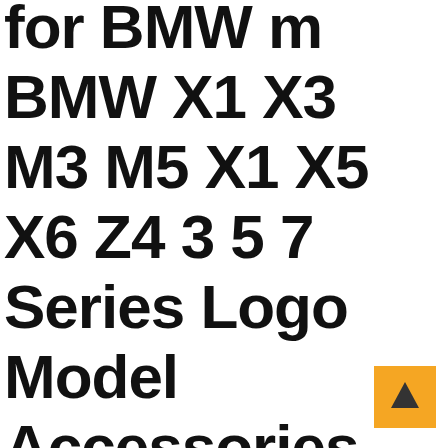for BMW m BMW X1 X3 M3 M5 X1 X5 X6 Z4 3 5 7 Series Logo Model Accessories Silver
[Figure (other): Orange square button with an upward-pointing arrow/caret in the bottom-right corner of the page]